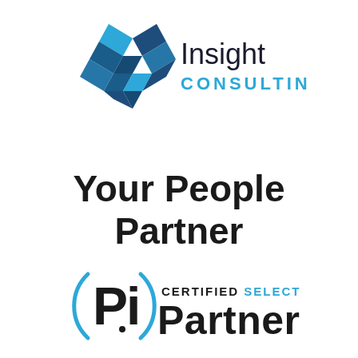[Figure (logo): Insight Consulting logo: geometric diamond/chevron shapes in dark blue and teal, with text 'Insight' in dark and 'CONSULTING' in teal bold uppercase]
Your People Partner
[Figure (logo): PI (Predictive Index) Certified Select Partner logo: arc bracket with 'Pi' text and dot, alongside 'CERTIFIED SELECT Partner' text]